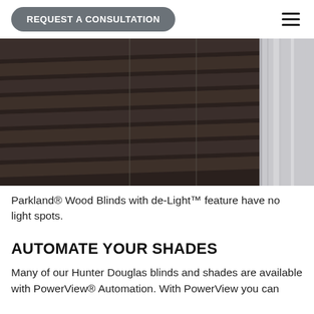REQUEST A CONSULTATION
[Figure (photo): Close-up photo of dark brown Parkland Wood Blinds with de-Light feature, showing horizontal slats with no light spots, with a white curtain/window frame visible on the right edge.]
Parkland® Wood Blinds with de-Light™ feature have no light spots.
AUTOMATE YOUR SHADES
Many of our Hunter Douglas blinds and shades are available with PowerView® Automation. With PowerView you can